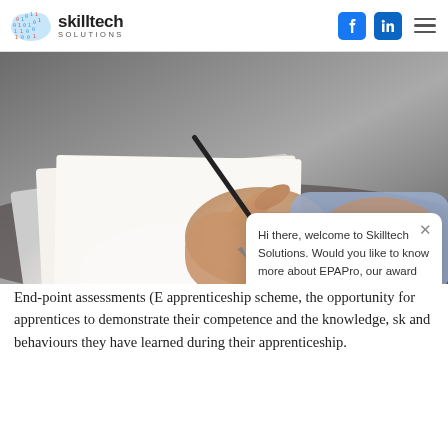skilltech SOLUTIONS — navigation with Facebook, LinkedIn, and menu icons
[Figure (photo): Close-up photo of a person's hand writing with a pen on paper, blurred background]
Hi there, welcome to Skilltech Solutions. Would you like to know more about EPAPro, our award winning End-point Assessment solution? We're always happy to chat.
End-point assessments (E... apprenticeship scheme, the opportunity for apprentices to demonstrate their competence and the knowledge, sk... and behaviours they have learned during their apprenticeship.